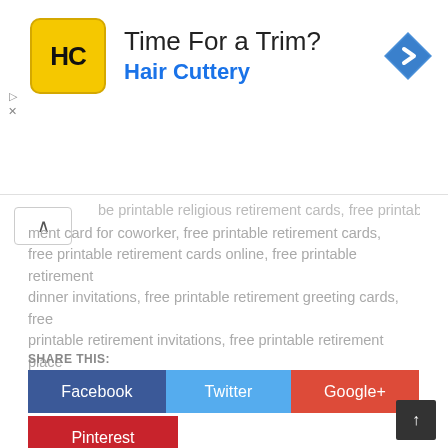[Figure (screenshot): Hair Cuttery advertisement banner with logo (HC on yellow background), text 'Time For a Trim?' and 'Hair Cuttery' in blue, plus a blue diamond navigation arrow icon. Small play/close controls on left.]
…be printable religious retirement cards, free printable ment card for coworker, free printable retirement cards, free printable retirement cards online, free printable retirement dinner invitations, free printable retirement greeting cards, free printable retirement invitations, free printable retirement place cards, free template retirement card
SHARE THIS:
Facebook
Twitter
Google+
Pinterest
Related Post to Free Printable Retirement Cards